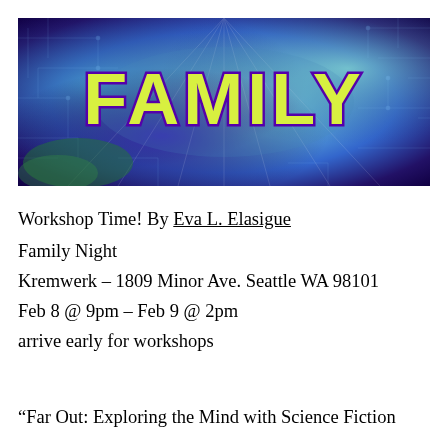[Figure (illustration): Banner image with colorful blue, teal, and purple psychedelic background with the word FAMILY in large bold yellow-green letters with purple outline]
Workshop Time! By Eva L. Elasigue
Family Night
Kremwerk – 1809 Minor Ave. Seattle WA 98101
Feb 8 @ 9pm – Feb 9 @ 2pm
arrive early for workshops
“Far Out: Exploring the Mind with Science Fiction